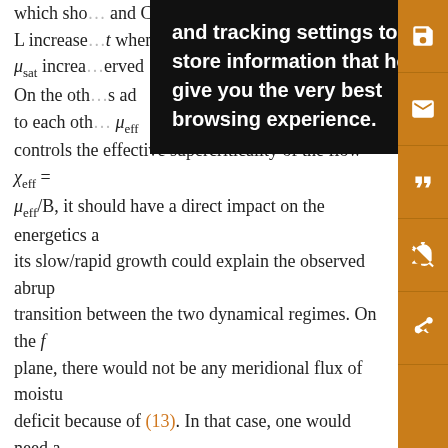which sho... and C and L increases... at when μ_sat increa... erved On the other... s ad to each other... μ_eff controls the effective supercriticality of the flow χ_eff = μ_eff/B, it should have a direct impact on the energetics and its slow/rapid growth could explain the observed abrupt transition between the two dynamical regimes. On the f plane, there would not be any meridional flux of moisture deficit because of (13). In that case, one would need a different relation to define α and an effective static stability.
To illustrate the usefulness of the effective static stability, one can compare the energy spectra obtained in the moist model and in a equivalent dry model. The dry model uses